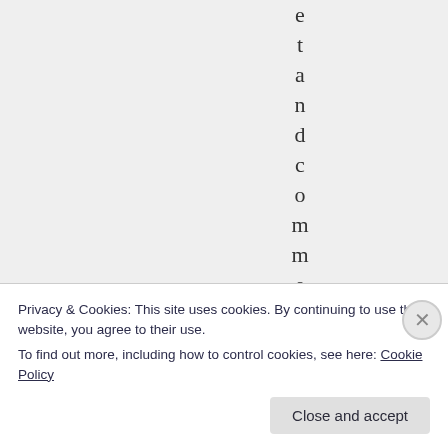etandcomment
Privacy & Cookies: This site uses cookies. By continuing to use this website, you agree to their use.
To find out more, including how to control cookies, see here: Cookie Policy